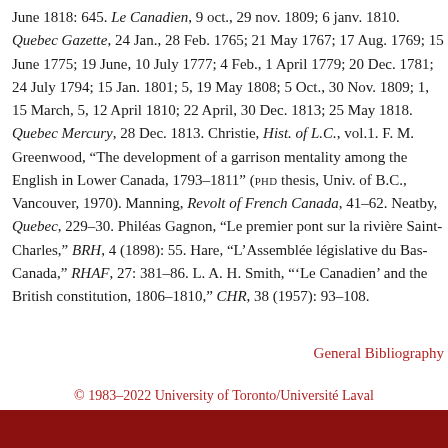June 1818: 645. Le Canadien, 9 oct., 29 nov. 1809; 6 janv. 1810. Quebec Gazette, 24 Jan., 28 Feb. 1765; 21 May 1767; 17 Aug. 1769; 15 June 1775; 19 June, 10 July 1777; 4 Feb., 1 April 1779; 20 Dec. 1781; 24 July 1794; 15 Jan. 1801; 5, 19 May 1808; 5 Oct., 30 Nov. 1809; 1, 15 March, 5, 12 April 1810; 22 April, 30 Dec. 1813; 25 May 1818. Quebec Mercury, 28 Dec. 1813. Christie, Hist. of L.C., vol.1. F. M. Greenwood, “The development of a garrison mentality among the English in Lower Canada, 1793–1811” (PHD thesis, Univ. of B.C., Vancouver, 1970). Manning, Revolt of French Canada, 41–62. Neatby, Quebec, 229–30. Philéas Gagnon, “Le premier pont sur la rivière Saint-Charles,” BRH, 4 (1898): 55. Hare, “L’Assemblée législative du Bas-Canada,” RHAF, 27: 381–86. L. A. H. Smith, “‘Le Canadien’ and the British constitution, 1806–1810,” CHR, 38 (1957): 93–108.
General Bibliography
© 1983–2022 University of Toronto/Université Laval